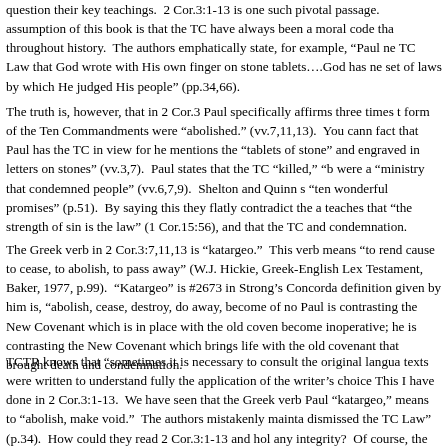question their key teachings.  2 Cor.3:1-13 is one such pivotal passage.  assumption of this book is that the TC have always been a moral code tha throughout history.  The authors emphatically state, for example, "Paul ne TC Law that God wrote with His own finger on stone tablets….God has ne set of laws by which He judged His people" (pp.34,66).
The truth is, however, that in 2 Cor.3 Paul specifically affirms three times t form of the Ten Commandments were "abolished." (vv.7,11,13).  You cann fact that Paul has the TC in view for he mentions the "tablets of stone" and engraved in letters on stones" (vv.3,7).  Paul states that the TC "killed," "b were a "ministry that condemned people" (vv.6,7,9).  Shelton and Quinn s "ten wonderful promises" (p.51).  By saying this they flatly contradict the a teaches that "the strength of sin is the law" (1 Cor.15:56), and that the TC and condemnation.
The Greek verb in 2 Cor.3:7,11,13 is "katargeo."  This verb means "to rend cause to cease, to abolish, to pass away" (W.J. Hickie, Greek-English Lex Testament, Baker, 1977, p.99).  "Katargeo" is #2673 in Strong's Concorda definition given by him is, "abolish, cease, destroy, do away, become of no Paul is contrasting the New Covenant which is in place with the old coven become inoperative; he is contrasting the New Covenant which brings life with the old covenant that brought death and condemnation.
TCTR knows that "sometimes it is necessary to consult the original langua texts were written to understand fully the application of the writer's choice This I have done in 2 Cor.3:1-13.  We have seen that the Greek verb Paul "katargeo," means to "abolish, make void."  The authors mistakenly mainta dismissed the TC Law" (p.34).  How could they read 2 Cor.3:1-13 and hol any integrity?  Of course, the reader will not find these verses dealt with in they destroy their false teaching.  Paul taught three times in 2 Cor.3:1-13 t